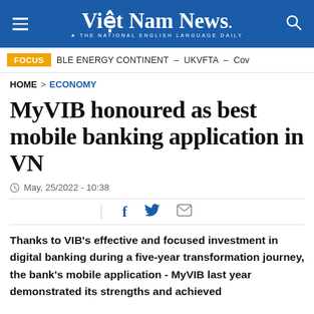Việt Nam News. THE NATIONAL ENGLISH LANGUAGE DAILY
FOCUS  BLE ENERGY CONTINENT – UKVFTA – Cov
HOME > ECONOMY
MyVIB honoured as best mobile banking application in VN
May, 25/2022 - 10:38
Thanks to VIB's effective and focused investment in digital banking during a five-year transformation journey, the bank's mobile application - MyVIB last year demonstrated its strengths and achieved